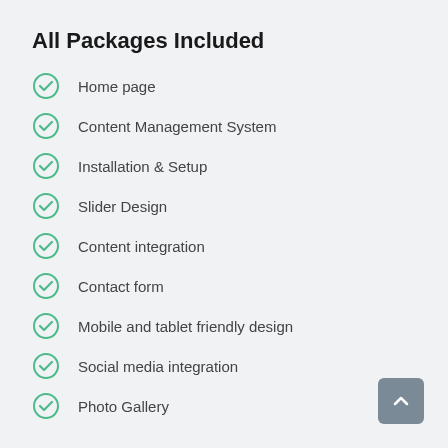All Packages Included
Home page
Content Management System
Installation & Setup
Slider Design
Content integration
Contact form
Mobile and tablet friendly design
Social media integration
Photo Gallery